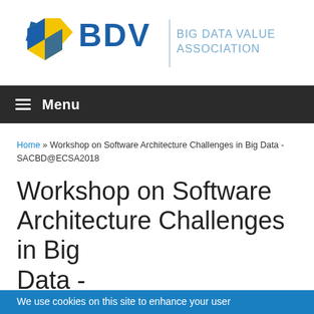[Figure (logo): BDV Big Data Value Association logo with yellow and blue hexagonal arrow shapes and bold BDV text]
≡ Menu
Home » Workshop on Software Architecture Challenges in Big Data - SACBD@ECSA2018
Workshop on Software Architecture Challenges in Big Data - SACBD@ECSA2018
We use cookies on this site to enhance your user